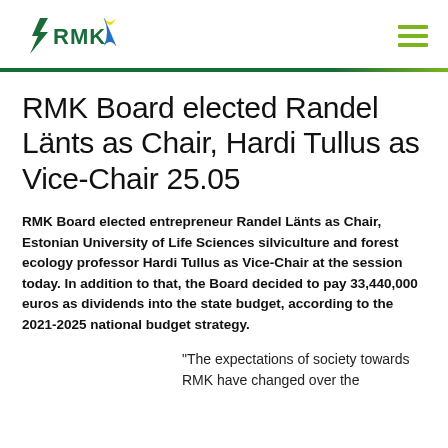RMK logo with ribbon, navigation hamburger
RMK Board elected Randel Länts as Chair, Hardi Tullus as Vice-Chair 25.05
RMK Board elected entrepreneur Randel Länts as Chair, Estonian University of Life Sciences silviculture and forest ecology professor Hardi Tullus as Vice-Chair at the session today. In addition to that, the Board decided to pay 33,440,000 euros as dividends into the state budget, according to the 2021-2025 national budget strategy.
“The expectations of society towards RMK have changed over the